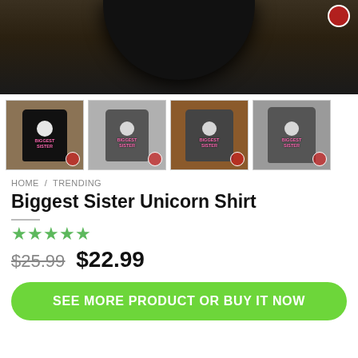[Figure (photo): Main product image showing black t-shirt collar/neckline area against a dark wood-textured background]
[Figure (photo): Four thumbnail images of the Biggest Sister Unicorn Shirt product in different views and styles: black tee front, grey tee front, grey long sleeve front, grey hoodie back]
HOME / TRENDING
Biggest Sister Unicorn Shirt
[Figure (other): 5-star rating shown as green stars]
$25.99  $22.99
SEE MORE PRODUCT OR BUY IT NOW